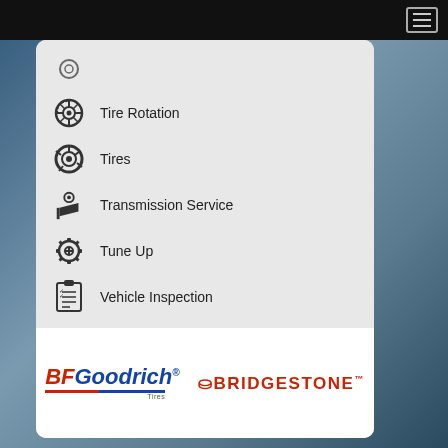Navigation bar with hamburger menu
Tire Rotation
Tires
Transmission Service
Tune Up
Vehicle Inspection
Wheel Alignments
Windshield Wiper Blades
[Figure (logo): BFGoodrich Tires logo in red and blue with underline]
[Figure (logo): Bridgestone logo in red bold lettering]